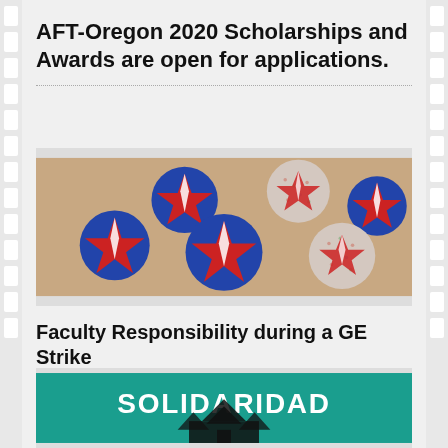AFT-Oregon 2020 Scholarships and Awards are open for applications.
[Figure (photo): Multiple round blue buttons/pins featuring a red star and white arrow design, scattered on a wooden surface. Some buttons have a speckled/floral pattern background.]
Faculty Responsibility during a GE Strike
[Figure (photo): Teal/turquoise banner or shirt with the word SOLIDARIDAD printed in white letters, with a dark tree silhouette below.]